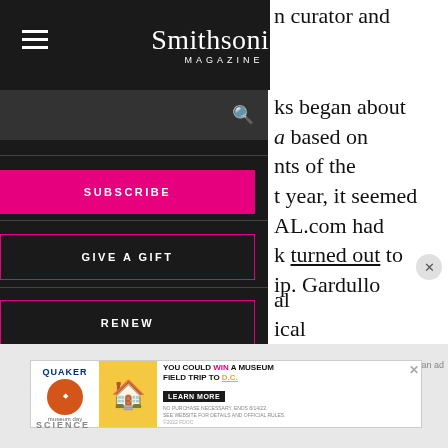Smithsonian MAGAZINE
n curator and
ks began about
a based on ants of the t year, it seemed AL.com had k turned out to ip. Gardullo
al ical tilda
SUBSCRIBE
GIVE A GIFT
RENEW
[Figure (screenshot): Quaker advertisement: YOU COULD WIN A MUSEUM FIELD TRIP TO D.C. LEARN MORE. No purchase necessary, ends 8/14/22.]
Report an ad
SCIENCE